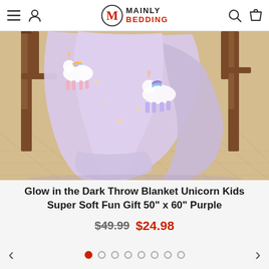Mainly Bedding - navigation header with menu, user, search, and cart icons
[Figure (photo): A light purple unicorn throw blanket draped over a wooden chair on a herringbone wood floor. The blanket features colorful unicorn designs.]
Glow in the Dark Throw Blanket Unicorn Kids Super Soft Fun Gift 50" x 60" Purple
$49.99 $24.98